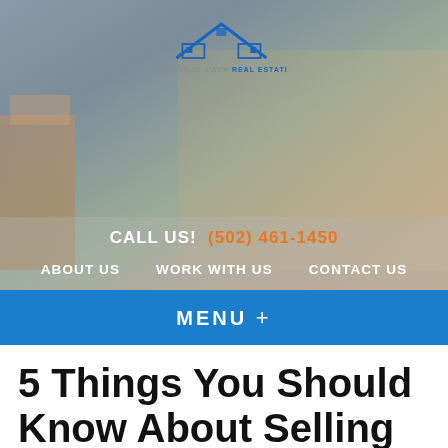[Figure (screenshot): Website header hero image showing a man and woman smiling while carrying moving boxes, with a semi-transparent navigation overlay including the Louisville Cash Real Estate logo, phone number, and nav links]
CALL US! (502) 461-1450
ABOUT US   WORK WITH US   CONTACT US
MENU +
5 Things You Should Know About Selling Your Commercial